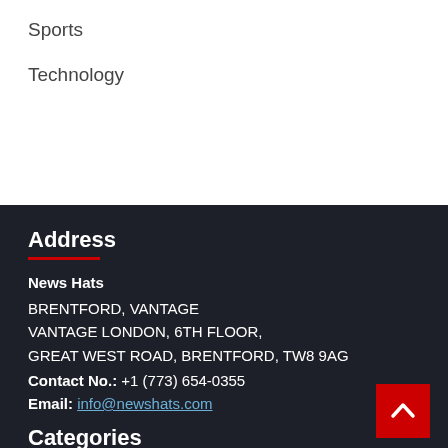Sports
Technology
Address
News Hats
BRENTFORD, VANTAGE
VANTAGE LONDON, 6TH FLOOR,
GREAT WEST ROAD, BRENTFORD, TW8 9AG
Contact No.: +1 (773) 654-0355
Email: info@newshats.com
Categories